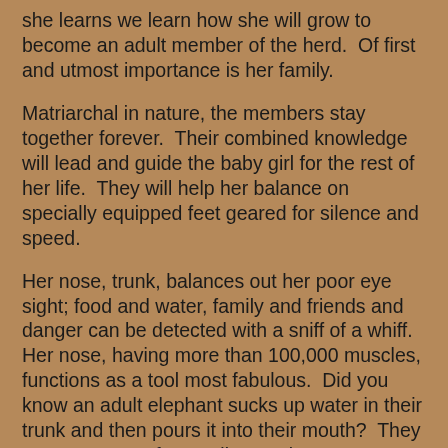she learns we learn how she will grow to become an adult member of the herd.  Of first and utmost importance is her family.
Matriarchal in nature, the members stay together forever.  Their combined knowledge will lead and guide the baby girl for the rest of her life.  They will help her balance on specially equipped feet geared for silence and speed.
Her nose, trunk, balances out her poor eye sight; food and water, family and friends and danger can be detected with a sniff of a whiff.  Her nose, having more than 100,000 muscles, functions as a tool most fabulous.  Did you know an adult elephant sucks up water in their trunk and then pours it into their mouth?  They consume up to forty gallons a day.
Both as a baby, and then as an adult, elephants have an expansive repertoire of sounds; each one used for a specific purpose.  As herbivores elephants are crunching and munching for most of their waking hours but babies have it a bit easier.  They are little recyclers.  (You'll have to read the